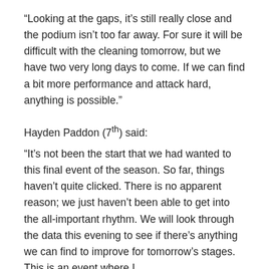“Looking at the gaps, it’s still really close and the podium isn’t too far away. For sure it will be difficult with the cleaning tomorrow, but we have two very long days to come. If we can find a bit more performance and attack hard, anything is possible.”
Hayden Paddon (7th) said:
“It’s not been the start that we had wanted to this final event of the season. So far, things haven’t quite clicked. There is no apparent reason; we just haven’t been able to get into the all-important rhythm. We will look through the data this evening to see if there’s anything we can find to improve for tomorrow’s stages. This is an event where I